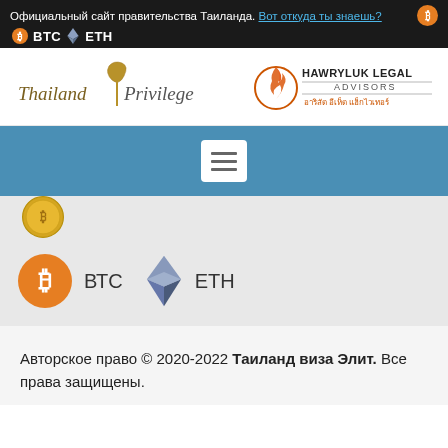Официальный сайт правительства Таиланда. Вот откуда ты знаешь? BTC ETH
[Figure (logo): Thailand Privilege logo with golden leaf motif]
[Figure (logo): Hawryluk Legal Advisors logo with flame icon and Thai text]
[Figure (infographic): Blue navigation bar with hamburger menu button]
[Figure (infographic): Partial gold Bitcoin coin visible at bottom of nav area]
[Figure (infographic): Bitcoin (BTC) orange circle icon and Ethereum (ETH) diamond icon with labels]
Авторское право © 2020-2022 Таиланд виза Элит. Все права защищены.